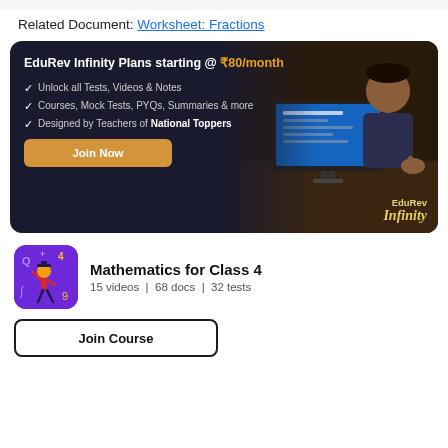Related Document: Worksheet: Fractions
[Figure (infographic): EduRev Infinity Plans advertisement banner with dark background. Shows pricing at ₹80/month, checkmarks for features: Unlock all Tests, Videos & Notes; Courses, Mock Tests, PYQs, Summaries & more; Designed by Teachers of National Toppers. Gold 'Join Now' button. EduRev Infinity branding bottom right. Background shows person at computer.]
[Figure (illustration): Mathematics for Class 4 course icon - purple background with cartoon student and math symbols]
Mathematics for Class 4
15 videos  |  68 docs  |  32 tests
Join Course